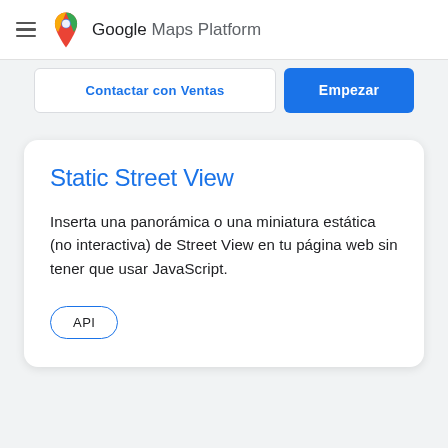Google Maps Platform
Contactar con Ventas
Empezar
Static Street View
Inserta una panorámica o una miniatura estática (no interactiva) de Street View en tu página web sin tener que usar JavaScript.
API